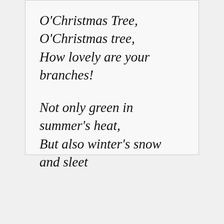O'Christmas Tree, O'Christmas tree,
How lovely are your branches!

Not only green in summer's heat,
But also winter's snow and sleet